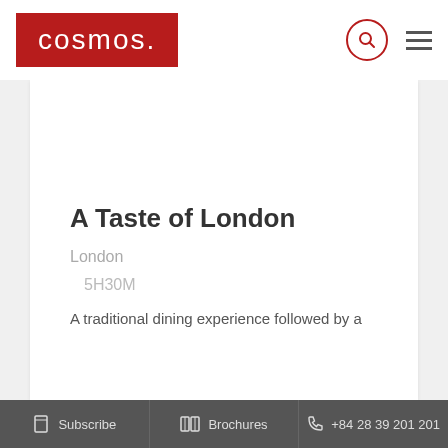[Figure (logo): Cosmos logo — white lowercase text 'cosmos.' on a dark red background]
A Taste of London
London
5H30M
A traditional dining experience followed by a
Subscribe   Brochures   +84 28 39 201 201